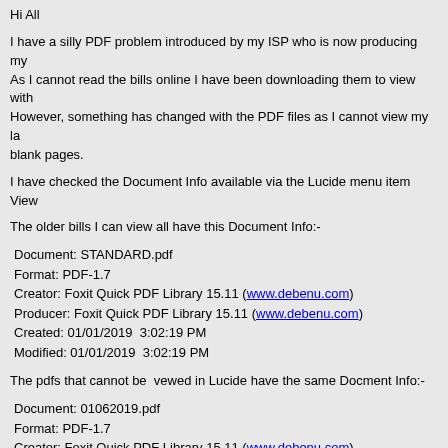Hi All
I have a silly PDF problem introduced by my ISP who is now producing my As I cannot read the bills online I have been downloading them to view with However, something has changed with the PDF files as I cannot view my la blank pages.
I have checked the Document Info available via the Lucide menu item View
The older bills I can view all have this Document Info:-
Document: STANDARD.pdf
Format: PDF-1.7
Creator: Foxit Quick PDF Library 15.11 (www.debenu.com)
Producer: Foxit Quick PDF Library 15.11 (www.debenu.com)
Created: 01/01/2019  3:02:19 PM
Modified: 01/01/2019  3:02:19 PM
The pdfs that cannot be vewed in Lucide have the same Docment Info:-
Document: 01062019.pdf
Format: PDF-1.7
Creator: Foxit Quick PDF Library 15.11 (www.debenu.com)
Producer: Foxit Quick PDF Library 15.11 (www.debenu.com)
Created: 01/06/2019  3:08:37 PM
Modified: 01/06/2019  3:08:37 PM